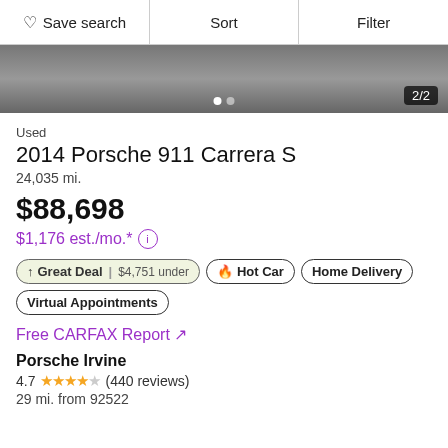Save search | Sort | Filter
[Figure (photo): Partial view of a car listing photo, dark/gray background with image counter showing 2/2]
Used
2014 Porsche 911 Carrera S
24,035 mi.
$88,698
$1,176 est./mo.*
↑ Great Deal | $4,751 under
🔥 Hot Car
Home Delivery
Virtual Appointments
Free CARFAX Report ↗
Porsche Irvine
4.7 ★★★★☆ (440 reviews)
29 mi. from 92522